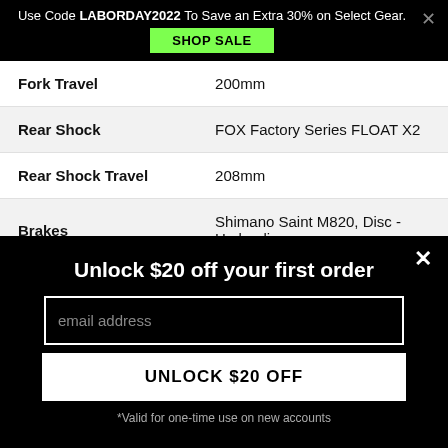Use Code LABORDAY2022 To Save an Extra 30% on Select Gear.
SHOP SALE
| Spec | Value |
| --- | --- |
| Fork Travel | 200mm |
| Rear Shock | FOX Factory Series FLOAT X2 |
| Rear Shock Travel | 208mm |
| Brakes | Shimano Saint M820, Disc - Hydraulic |
Unlock $20 off your first order
email address
UNLOCK $20 OFF
*Valid for one-time use on new accounts